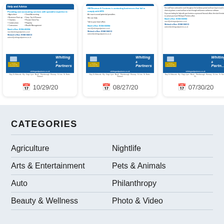[Figure (screenshot): Advertisement card for Whiting & Partners accounting firm dated 10/29/20]
[Figure (screenshot): Advertisement card for Whiting & Partners accounting firm dated 08/27/20]
[Figure (screenshot): Advertisement card for Whiting & Partners accounting firm dated 07/30/20 (partially visible)]
CATEGORIES
Agriculture
Nightlife
Arts & Entertainment
Pets & Animals
Auto
Philanthropy
Beauty & Wellness
Photo & Video